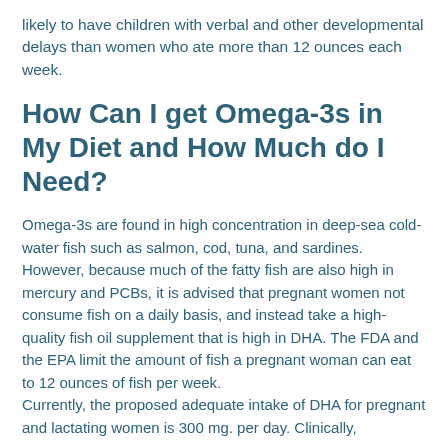likely to have children with verbal and other developmental delays than women who ate more than 12 ounces each week.
How Can I get Omega-3s in My Diet and How Much do I Need?
Omega-3s are found in high concentration in deep-sea cold-water fish such as salmon, cod, tuna, and sardines. However, because much of the fatty fish are also high in mercury and PCBs, it is advised that pregnant women not consume fish on a daily basis, and instead take a high-quality fish oil supplement that is high in DHA. The FDA and the EPA limit the amount of fish a pregnant woman can eat to 12 ounces of fish per week.
Currently, the proposed adequate intake of DHA for pregnant and lactating women is 300 mg. per day. Clinically,